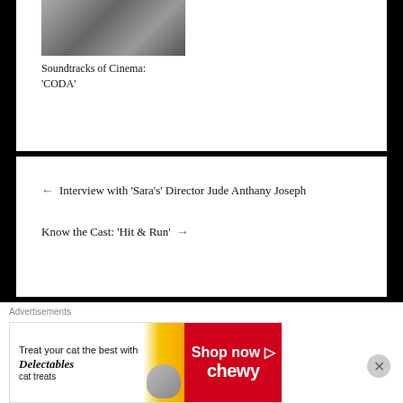[Figure (photo): A photo showing hands on what appears to be a steering wheel or car interior]
Soundtracks of Cinema: ‘CODA’
← Interview with ‘Sara’s’ Director Jude Anthany Joseph
Know the Cast: ‘Hit & Run’ →
Advertisements
[Figure (infographic): Chewy advertisement banner: Treat your cat the best with Delectables cat treats. Shop now Chewy.]